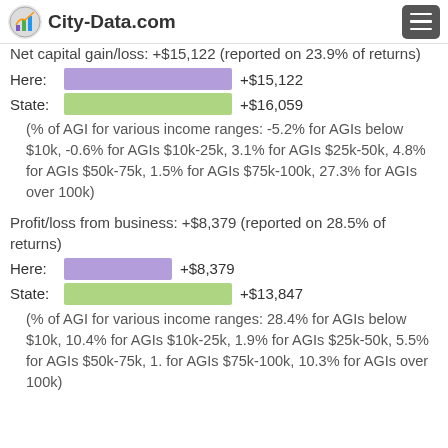City-Data.com
Net capital gain/loss: +$15,122 (reported on 23.9% of returns)
[Figure (bar-chart): Net capital gain/loss comparison]
(% of AGI for various income ranges: -5.2% for AGIs below $10k, -0.6% for AGIs $10k-25k, 3.1% for AGIs $25k-50k, 4.8% for AGIs $50k-75k, 1.5% for AGIs $75k-100k, 27.3% for AGIs over 100k)
Profit/loss from business: +$8,379 (reported on 28.5% of returns)
[Figure (bar-chart): Profit/loss from business comparison]
(% of AGI for various income ranges: 28.4% for AGIs below $10k, 10.4% for AGIs $10k-25k, 1.9% for AGIs $25k-50k, 5.5% for AGIs $50k-75k, 1. for AGIs $75k-100k, 10.3% for AGIs over 100k)